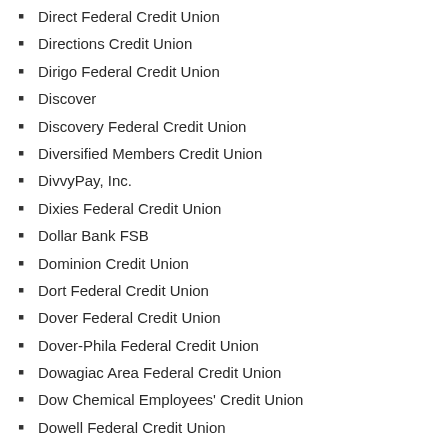Direct Federal Credit Union
Directions Credit Union
Dirigo Federal Credit Union
Discover
Discovery Federal Credit Union
Diversified Members Credit Union
DivvyPay, Inc.
Dixies Federal Credit Union
Dollar Bank FSB
Dominion Credit Union
Dort Federal Credit Union
Dover Federal Credit Union
Dover-Phila Federal Credit Union
Dowagiac Area Federal Credit Union
Dow Chemical Employees' Credit Union
Dowell Federal Credit Union
Downeast Credit Union
Downriver Community Federal Credit Union
Drummond Community Bank
Dubuque Bank and Trust Company